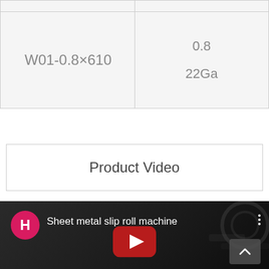|  |  |
| W01-0.8×610 | 0.8
22Ga |
Product Video
[Figure (screenshot): YouTube video thumbnail showing a sheet metal slip roll machine video. Channel avatar is a pink circle with letter H. Title reads 'Sheet metal slip roll machine'. YouTube play button visible in center. Three-dot menu icon in top right. Scroll-up button in bottom right.]